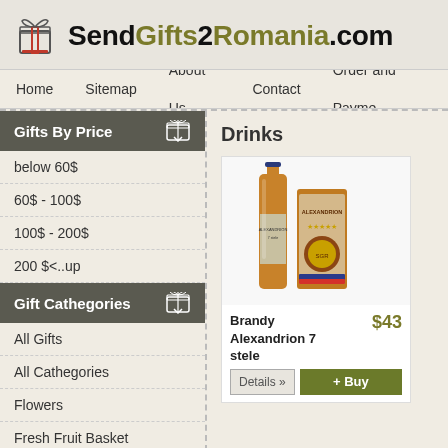[Figure (logo): Gift box logo icon with bow on top]
SendGifts2Romania.com
Home   Sitemap   About Us   Contact   Order and Payme
Gifts By Price
below 60$
60$ - 100$
100$ - 200$
200 $<..up
Gift Cathegories
All Gifts
All Cathegories
Flowers
Fresh Fruit Basket
Sweets Gourmet Gifts
Juices Gift Basket
Drinks
[Figure (photo): Brandy Alexandrion 7 stele bottle and box]
Brandy Alexandrion 7 stele   $43
[Figure (photo): Partial view of second drink product with dark bottle]